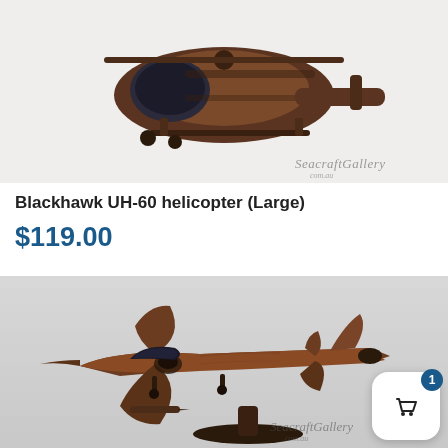[Figure (photo): Wooden Blackhawk UH-60 helicopter scale model on white background, viewed from front-left angle, dark mahogany wood finish. SeacraftGallery watermark in bottom right.]
Blackhawk UH-60 helicopter (Large)
$119.00
[Figure (photo): Wooden F-4 Phantom jet fighter scale model on a wooden display stand, dark mahogany finish, viewed from front-left angle on grey background. SeacraftGallery watermark in bottom right.]